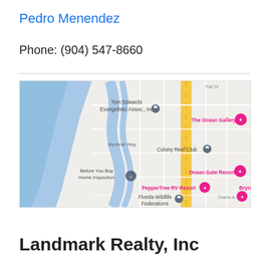Pedro Menendez
Phone: (904) 547-8660
[Figure (map): Google Maps screenshot showing coastal area near St. Augustine, FL with landmarks: Tom Edwards Evangelistic Assoc. Inc, The Ocean Gallery, Colony Reef Club, Before You Buy Home Inspection, Ocean Gate Resort, PepperTree RV Resort, Bryn, Florida Wildlife Federations, Owens A. A yellow road (highway) runs vertically on the right side. Blue water/bay on the left.]
Landmark Realty, Inc